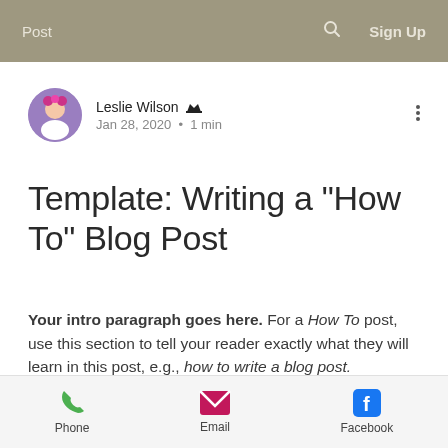Post   🔍   Sign Up
Leslie Wilson 👑
Jan 28, 2020 • 1 min
Template: Writing a "How To" Blog Post
Your intro paragraph goes here. For a How To post, use this section to tell your reader exactly what they will learn in this post, e.g., how to write a blog post.
Phone   Email   Facebook